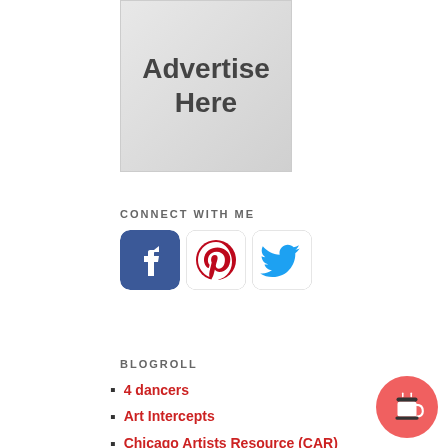[Figure (illustration): Advertise Here placeholder box with gray gradient background]
CONNECT WITH ME
[Figure (illustration): Social media icons: Facebook, Pinterest, Twitter]
BLOGROLL
4 dancers
Art Intercepts
Chicago Artists Resource (CAR)
Chicago Human Rhythm Project
Dance Advantage
Dance Bloggers
Dance For Life
Dance Open
[Figure (illustration): Buy me a coffee red circular button with coffee cup icon]